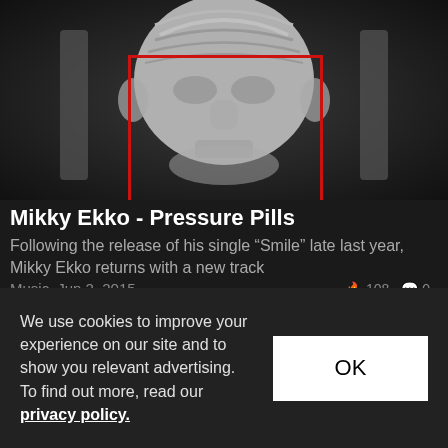[Figure (photo): Black and white photo of a classical stone sculpture/statue face (resembling a Roman or Greek bust), with a red rectangle overlaid on the center of the face. Dark background with vertical stone columns on the sides.]
Mikky Ekko - Pressure Pills
Following the release of his single “Smile” late last year, Mikky Ekko returns with a new track
Music  Jun 2, 2015  🔥 108  💬 0
[Figure (photo): Black and white photo, partial view of what appears to be an outdoor scene with a white object/sculpture visible.]
We use cookies to improve your experience on our site and to show you relevant advertising. To find out more, read our privacy policy.